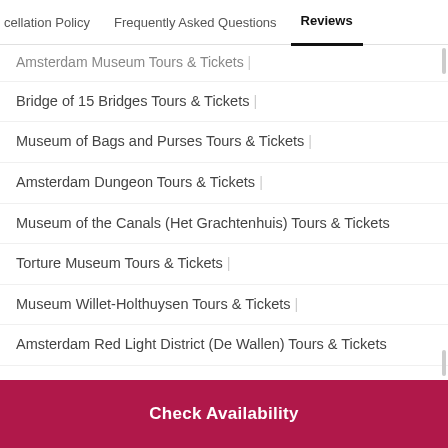cellation Policy   Frequently Asked Questions   Reviews
Amsterdam Museum Tours & Tickets |
Bridge of 15 Bridges Tours & Tickets |
Museum of Bags and Purses Tours & Tickets |
Amsterdam Dungeon Tours & Tickets |
Museum of the Canals (Het Grachtenhuis) Tours & Tickets
Torture Museum Tours & Tickets |
Museum Willet-Holthuysen Tours & Tickets |
Amsterdam Red Light District (De Wallen) Tours & Tickets
Check Availability